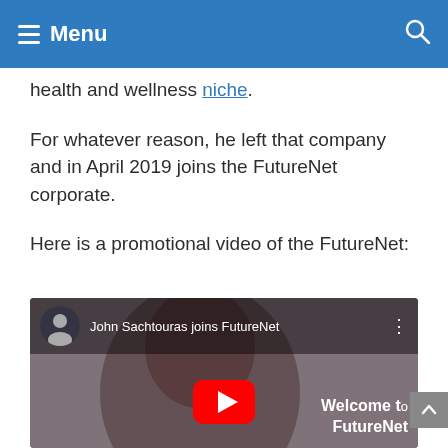Menu
health and wellness niche.
For whatever reason, he left that company and in April 2019 joins the FutureNet corporate.
Here is a promotional video of the FutureNet:
[Figure (screenshot): YouTube video thumbnail showing John Sachtouras joins FutureNet with a man's face and Welcome to FutureNet text overlay and YouTube play button]